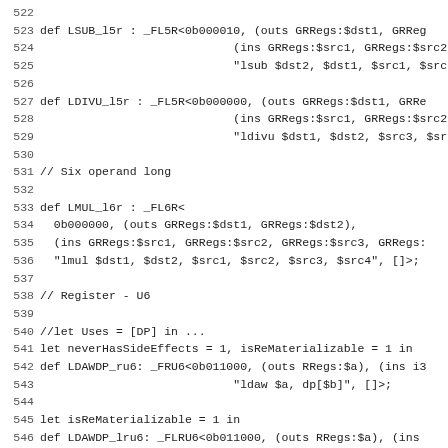Code listing lines 522–553 showing definitions of LSUB_l5r, LDIVU_l5r, LMUL_l6r, LDAWDP_ru6, LDAWDP_lru6, LDWDP_ru6 in a hardware description language.